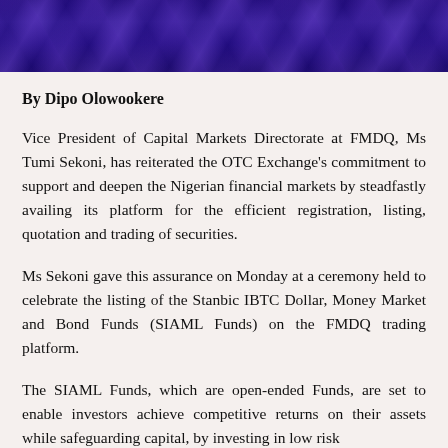[Figure (photo): Dark blue/indigo silky fabric texture header image]
By Dipo Olowookere
Vice President of Capital Markets Directorate at FMDQ, Ms Tumi Sekoni, has reiterated the OTC Exchange's commitment to support and deepen the Nigerian financial markets by steadfastly availing its platform for the efficient registration, listing, quotation and trading of securities.
Ms Sekoni gave this assurance on Monday at a ceremony held to celebrate the listing of the Stanbic IBTC Dollar, Money Market and Bond Funds (SIAML Funds) on the FMDQ trading platform.
The SIAML Funds, which are open-ended Funds, are set to enable investors achieve competitive returns on their assets while safeguarding capital, by investing in low risk